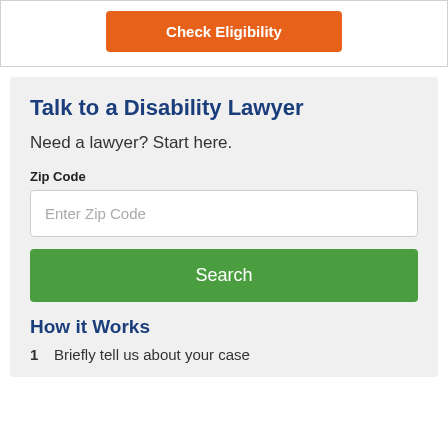[Figure (other): Orange 'Check Eligibility' button inside a white bordered box]
Talk to a Disability Lawyer
Need a lawyer? Start here.
Zip Code
Enter Zip Code
Search
How it Works
1  Briefly tell us about your case